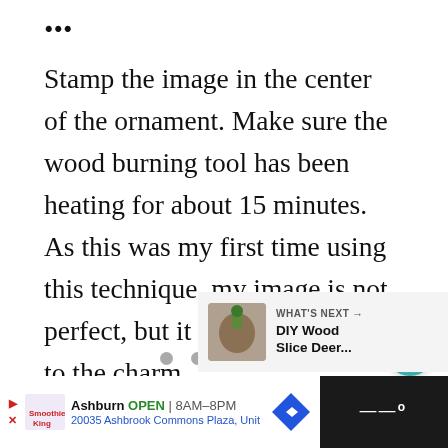...
Stamp the image in the center of the ornament. Make sure the wood burning tool has been heating for about 15 minutes. As this was my first time using this technique, my image is not perfect, but it really does add to the charm.
[Figure (other): Three pagination dots (gray circles) indicating a slideshow position indicator]
[Figure (other): What's Next panel showing a thumbnail of DIY Wood Slice Deer project with teal arrow label]
[Figure (other): Advertisement bar for Smoothie King in Ashburn showing OPEN 8AM-8PM and address 20035 Ashbrook Commons Plaza, Unit]